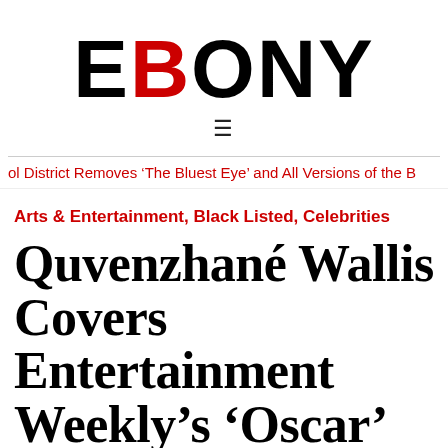EBONY
ol District Removes ‘The Bluest Eye’ and All Versions of the B
Arts & Entertainment, Black Listed, Celebrities
Quvenzhané Wallis Covers Entertainment Weekly’s ‘Oscar’